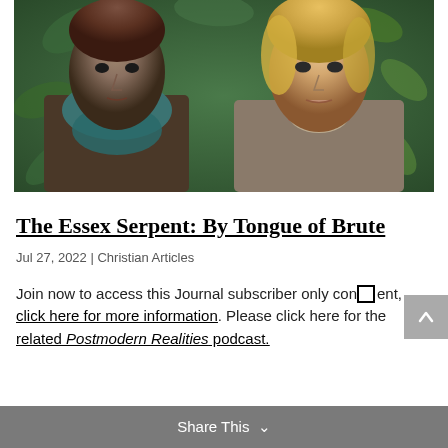[Figure (photo): Promotional photo from The Essex Serpent showing two actors (a dark-haired man in a teal scarf and a blonde woman) posed against an ornate green floral background.]
The Essex Serpent: By Tongue of Brute
Jul 27, 2022 | Christian Articles
Join now to access this Journal subscriber only content, click here for more information. Please click here for the related Postmodern Realities podcast.
Share This